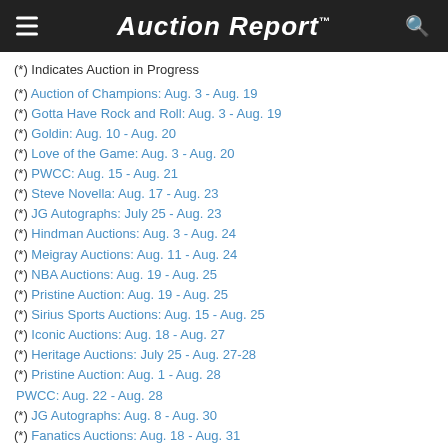Auction Report™
(*) Indicates Auction in Progress
(*) Auction of Champions: Aug. 3 - Aug. 19
(*) Gotta Have Rock and Roll: Aug. 3 - Aug. 19
(*) Goldin: Aug. 10 - Aug. 20
(*) Love of the Game: Aug. 3 - Aug. 20
(*) PWCC: Aug. 15 - Aug. 21
(*) Steve Novella: Aug. 17 - Aug. 23
(*) JG Autographs: July 25 - Aug. 23
(*) Hindman Auctions: Aug. 3 - Aug. 24
(*) Meigray Auctions: Aug. 11 - Aug. 24
(*) NBA Auctions: Aug. 19 - Aug. 25
(*) Pristine Auction: Aug. 19 - Aug. 25
(*) Sirius Sports Auctions: Aug. 15 - Aug. 25
(*) Iconic Auctions: Aug. 18 - Aug. 27
(*) Heritage Auctions: July 25 - Aug. 27-28
(*) Pristine Auction: Aug. 1 - Aug. 28
PWCC: Aug. 22 - Aug. 28
(*) JG Autographs: Aug. 8 - Aug. 30
(*) Fanatics Auctions: Aug. 18 - Aug. 31
Rockhurst Auctions: Aug. 24 - Aug. 31
Pristine Auction: Aug. 26 - Sept. 1
(*) VSA Auctions: Aug. 15 - Sept. 1
Auction of Champions: Aug. 30 - Sept. 2